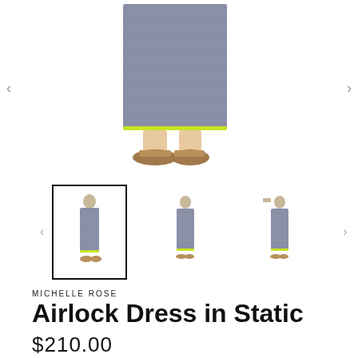[Figure (photo): Main product image showing lower half of a model wearing a grey knit maxi dress with neon yellow-green hem trim and brown sandals]
[Figure (photo): Thumbnail 1 (selected): Full body shot of model in grey knit maxi dress with hand near face]
[Figure (photo): Thumbnail 2: Full body side shot of model in grey knit maxi dress]
[Figure (photo): Thumbnail 3: Full body shot of model with arms raised wearing grey knit maxi dress]
MICHELLE ROSE
Airlock Dress in Static
$210.00
Pay in 4 interest-free installments of $52.50 with shopPay | Learn more